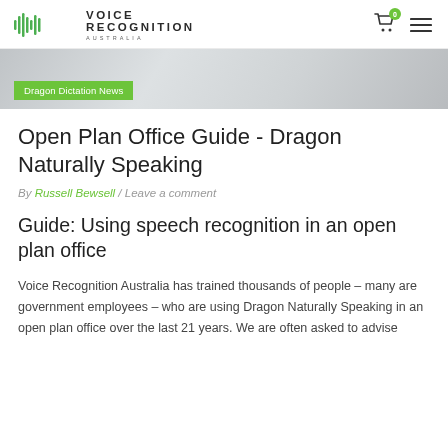Voice Recognition Australia
[Figure (photo): Hero image of office chairs/equipment with a green Dragon Dictation News label overlay]
Dragon Dictation News
Open Plan Office Guide - Dragon Naturally Speaking
By Russell Bewsell / Leave a comment
Guide: Using speech recognition in an open plan office
Voice Recognition Australia has trained thousands of people – many are government employees – who are using Dragon Naturally Speaking in an open plan office over the last 21 years. We are often asked to advise